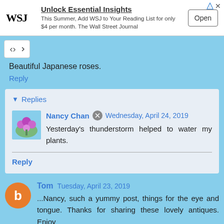[Figure (infographic): WSJ advertisement banner: 'Unlock Essential Insights' with WSJ logo, text about $4/month subscription, and an 'Open' button]
Beautiful Japanese roses.
Reply
Replies
Nancy Chan  Wednesday, April 24, 2019
Yesterday's thunderstorm helped to water my plants.
Reply
Tom  Tuesday, April 23, 2019
...Nancy, such a yummy post, things for the eye and tongue. Thanks for sharing these lovely antiques. Enjoy